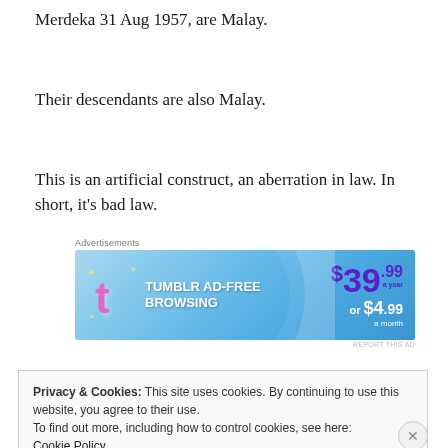Merdeka 31 Aug 1957, are Malay.
Their descendants are also Malay.
This is an artificial construct, an aberration in law. In short, it's bad law.
[Figure (screenshot): Tumblr Ad-Free Browsing advertisement banner showing $39.99 a year or $4.99 a month pricing on a blue gradient background.]
Privacy & Cookies: This site uses cookies. By continuing to use this website, you agree to their use.
To find out more, including how to control cookies, see here:
Cookie Policy
Close and accept